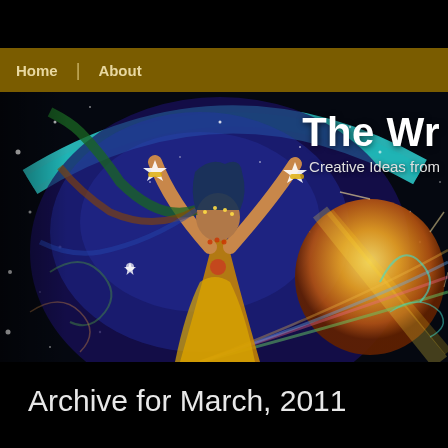Home | About
[Figure (illustration): Colorful illustration of a woman in traditional attire with raised arms holding stars, surrounded by a cosmic night sky with stars, a large sun/moon orb, and swirling teal arc above. Behind her is a vivid blue-purple starfield. Text overlay reads 'The Wr' (partially cut off) and 'Creative Ideas from' (partially cut off).]
Archive for March, 2011